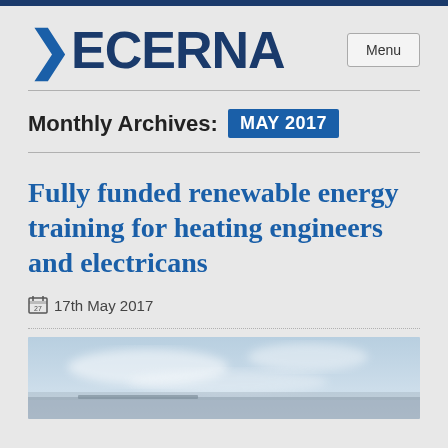DECERNA
Monthly Archives: MAY 2017
Fully funded renewable energy training for heating engineers and electricans
17th May 2017
[Figure (photo): Blurred outdoor photo showing what appears to be solar panels or a sky background in blue-grey tones]